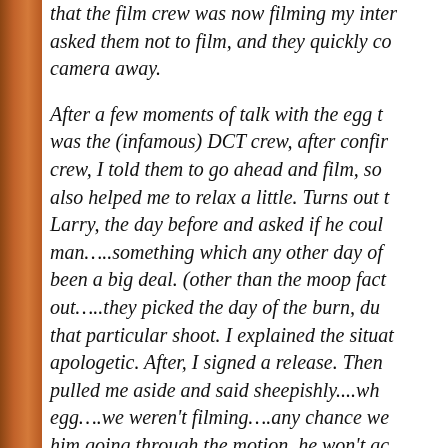that the film crew was now filming my inter... asked them not to film, and they quickly co... camera away. After a few moments of talk with the egg t... was the (infamous) DCT crew, after confir... crew, I told them to go ahead and film, so... also helped me to relax a little. Turns out t... Larry, the day before and asked if he coul... man…..something which any other day of... been a big deal. (other than the moop fact... out…..they picked the day of the burn, du... that particular shoot. I explained the situat... apologetic. After, I signed a release. Then... pulled me aside and said sheepishly....wh... egg….we weren't filming….any chance we... him going through the motion, he won't ac...